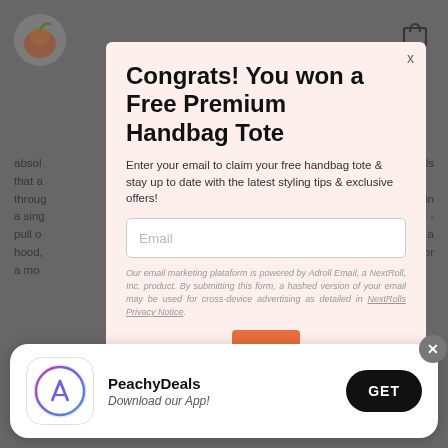[Figure (screenshot): Screenshot of a website with a modal popup overlay. The background shows a retail/e-commerce page (PeachyDeals) with gray overlay. The modal has a salmon/peach background with title 'Congrats! You won a Free Premium Handbag Tote', subtitle text about entering email, an email input field, legal disclaimer text, and a partially visible orange CTA button. At the bottom is an app download banner for PeachyDeals with an App Store icon, 'GET' button, and a close X button.]